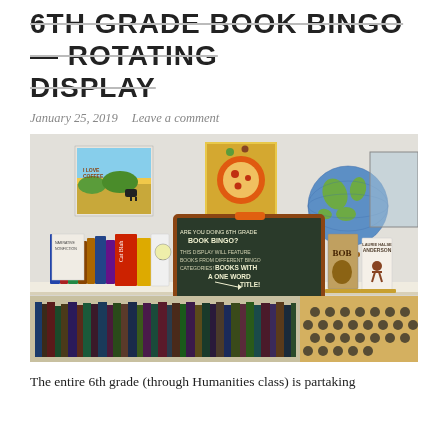6TH GRADE BOOK BINGO — ROTATING DISPLAY
January 25, 2019    Leave a comment
[Figure (photo): Library display shelf with books, a chalkboard sign reading 'Are you doing 6th Grade Book Bingo? This display will feature books from different bingo categories! Books with a one word title!', a globe, student artwork on the wall, and a honeycomb-paneled bookcase below.]
The entire 6th grade (through Humanities class) is partaking